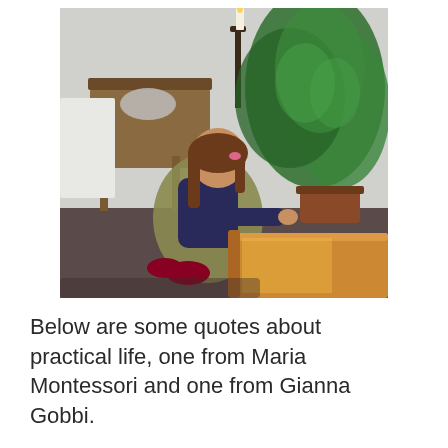[Figure (photo): A young girl kneeling on the floor, wearing an apron, working with a wooden material on a low table. There are green houseplants to her right, a small wooden table with items on it in the background, and a candle on a tall candlestick holder. The setting appears to be a Montessori classroom.]
Below are some quotes about practical life, one from Maria Montessori and one from Gianna Gobbi.